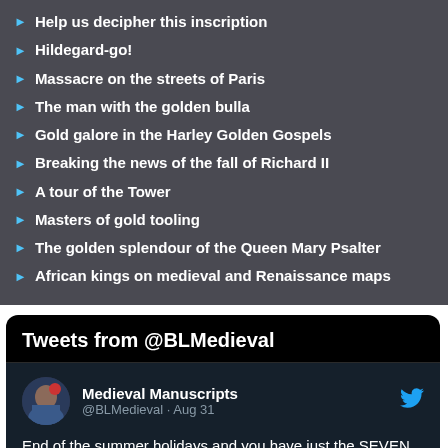Help us decipher this inscription
Hildegard-go!
Massacre on the streets of Paris
The man with the golden bulla
Gold galore in the Harley Golden Gospels
Breaking the news of the fall of Richard II
A tour of the Tower
Masters of gold tooling
The golden splendour of the Queen Mary Psalter
African kings on medieval and Renaissance maps
Tweets from @BLMedieval
Medieval Manuscripts @BLMedieval · Aug 31
End of the summer holidays and you have just the SEVEN children to keep occupied
bl.uk/catalogues/ill...